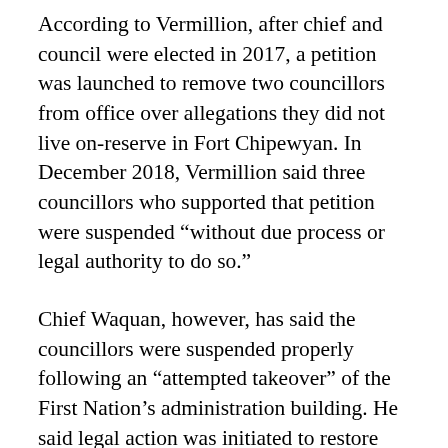According to Vermillion, after chief and council were elected in 2017, a petition was launched to remove two councillors from office over allegations they did not live on-reserve in Fort Chipewyan. In December 2018, Vermillion said three councillors who supported that petition were suspended “without due process or legal authority to do so.”
Chief Waquan, however, has said the councillors were suspended properly following an “attempted takeover” of the First Nation’s administration building. He said legal action was initiated to restore order and councillors were told they could return to work if they apologized to First Nation staff and provided an undertaking not to behave